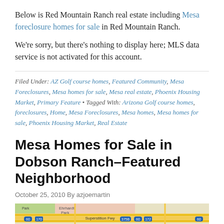Below is Red Mountain Ranch real estate including Mesa foreclosure homes for sale in Red Mountain Ranch.
We're sorry, but there's nothing to display here; MLS data service is not activated for this account.
Filed Under: AZ Golf course homes, Featured Community, Mesa Foreclosures, Mesa homes for sale, Mesa real estate, Phoenix Housing Market, Primary Feature • Tagged With: Arizona Golf course homes, foreclosures, Home, Mesa Foreclosures, Mesa homes, Mesa homes for sale, Phoenix Housing Market, Real Estate
Mesa Homes for Sale in Dobson Ranch–Featured Neighborhood
October 25, 2010 By azjoemartin
[Figure (map): Map showing Dobson Ranch area with Superstition Fwy and surrounding streets]